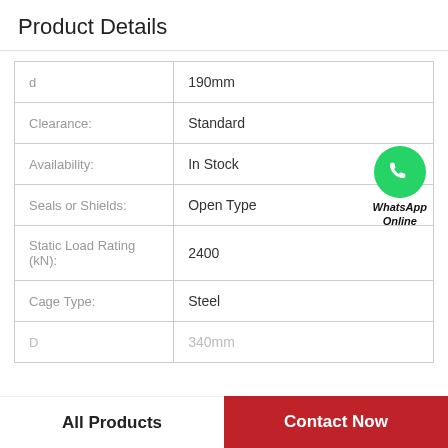Product Details
| Property | Value |
| --- | --- |
| d | 190mm |
| Clearance: | Standard |
| Availability: | In Stock |
| Seals or Shields: | Open Type |
| Static Load Rating (kN): | 2400 |
| Cage Type: | Steel |
| D | 340mm |
[Figure (logo): WhatsApp green phone icon with text 'WhatsApp Online']
All Products   Contact Now